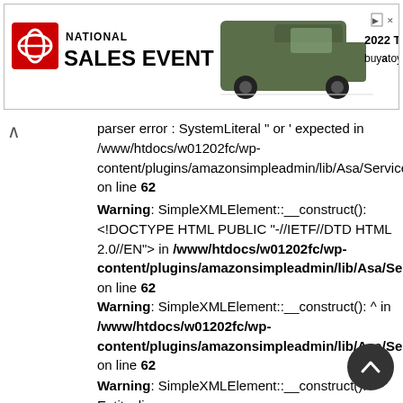[Figure (other): Toyota National Sales Event advertisement banner showing a green 2022 Tacoma truck with text '2022 TACOMA buyatoyota.com']
parser error : SystemLiteral " or ' expected in /www/htdocs/w01202fc/wp-content/plugins/amazonsimpleadmin/lib/Asa/Service/Amazon on line 62
Warning: SimpleXMLElement::__construct(): <!DOCTYPE HTML PUBLIC "-//IETF//DTD HTML 2.0//EN"> in /www/htdocs/w01202fc/wp-content/plugins/amazonsimpleadmin/lib/Asa/Service/Amazon on line 62
Warning: SimpleXMLElement::__construct(): ^ in /www/htdocs/w01202fc/wp-content/plugins/amazonsimpleadmin/lib/Asa/Service/Amazon on line 62
Warning: SimpleXMLElement::__construct(): Entity: line 1: parser error : SYSTEM or PUBLIC, the URI is missing